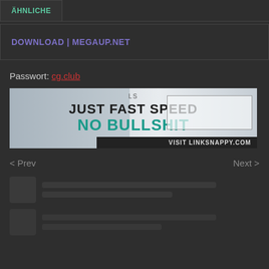ÄHNLICHE
DOWNLOAD | MEGAUP.NET
Passwort: cg.club
[Figure (photo): Advertisement banner: LS JUST FAST SPEED NO BULLSHIT VISIT LINKSNAPPY.COM]
< Prev    Next >
[Figure (other): Placeholder content rows with thumbnail and lines]
[Figure (other): Second placeholder content row with thumbnail and lines]